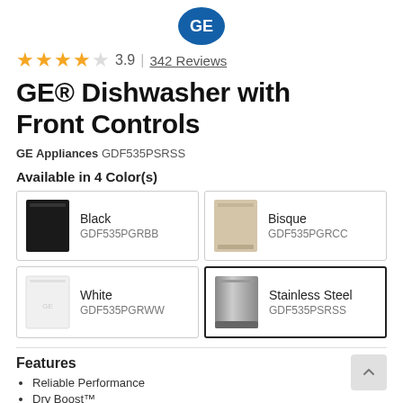[Figure (logo): GE Appliances logo partially visible at top center]
★★★★ 3.9 | 342 Reviews
GE® Dishwasher with Front Controls
GE Appliances GDF535PSRSS
Available in 4 Color(s)
| Black | GDF535PGRBB |
| Bisque | GDF535PGRCC |
| White | GDF535PGRWW |
| Stainless Steel | GDF535PSRSS |
Features
Reliable Performance
Dry Boost™
Steam + Sani